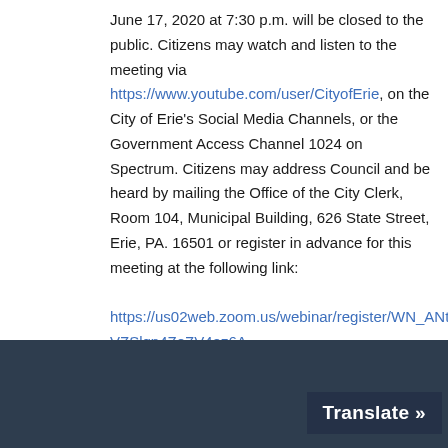June 17, 2020 at 7:30 p.m. will be closed to the public. Citizens may watch and listen to the meeting via https://www.youtube.com/user/CityofErie, on the City of Erie's Social Media Channels, or the Government Access Channel 1024 on Spectrum. Citizens may address Council and be heard by mailing the Office of the City Clerk, Room 104, Municipal Building, 626 State Street, Erie, PA. 16501 or register in advance for this meeting at the following link:

https://us02web.zoom.us/webinar/register/WN_ANtYieVZSlqp4ZoZV4ez6A

After registering, you will receive a confirmation email containing information about joining the meeting.
[Figure (screenshot): Dark navy blue footer bar with a 'Translate »' button in the bottom right corner]